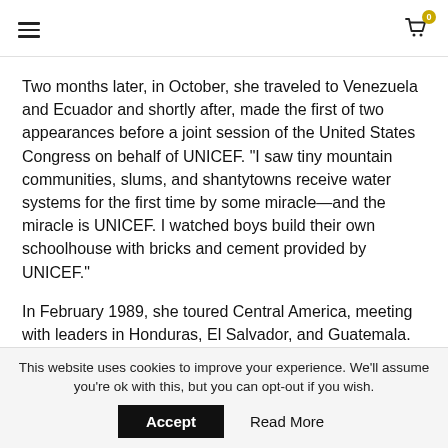≡  [cart icon] 0
Two months later, in October, she traveled to Venezuela and Ecuador and shortly after, made the first of two appearances before a joint session of the United States Congress on behalf of UNICEF. “I saw tiny mountain communities, slums, and shantytowns receive water systems for the first time by some miracle—and the miracle is UNICEF. I watched boys build their own schoolhouse with bricks and cement provided by UNICEF.”
In February 1989, she toured Central America, meeting with leaders in Honduras, El Salvador, and Guatemala. In April, she participated in “Operation Lifeline,” a UNICEF mission to bring desperately needed food and
This website uses cookies to improve your experience. We’ll assume you’re ok with this, but you can opt-out if you wish.
Accept   Read More